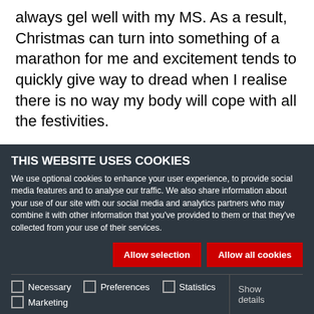always gel well with my MS. As a result, Christmas can turn into something of a marathon for me and excitement tends to quickly give way to dread when I realise there is no way my body will cope with all the festivities.
READ MORE
THIS WEBSITE USES COOKIES
We use optional cookies to enhance your user experience, to provide social media features and to analyse our traffic. We also share information about your use of our site with our social media and analytics partners who may combine it with other information that you've provided to them or that they've collected from your use of their services.
Allow selection | Allow all cookies
Necessary | Preferences | Statistics | Marketing | Show details